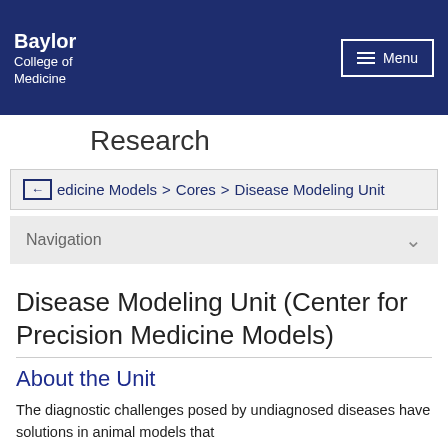Baylor College of Medicine | Menu
Research
edicine Models > Cores > Disease Modeling Unit
Navigation
Disease Modeling Unit (Center for Precision Medicine Models)
About the Unit
The diagnostic challenges posed by undiagnosed diseases have solutions in animal models that